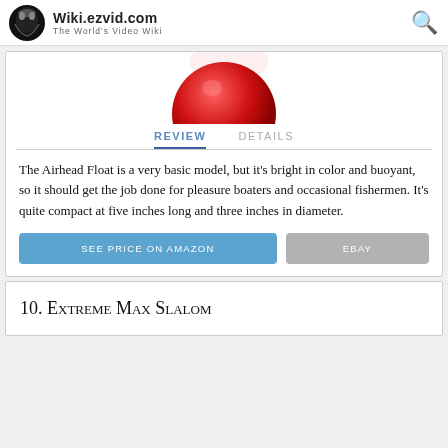Wiki.ezvid.com – The World's Video Wiki
[Figure (photo): Partial view of a red spherical float/buoy object against a white background]
REVIEW   DETAILS
The Airhead Float is a very basic model, but it's bright in color and buoyant, so it should get the job done for pleasure boaters and occasional fishermen. It's quite compact at five inches long and three inches in diameter.
SEE PRICE ON AMAZON   EBAY
10. Extreme Max Slalom